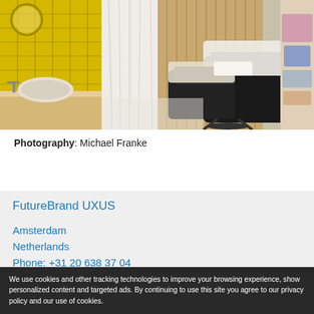[Figure (photo): Interior photo of a spa treatment room with yellow tile wall on the left, wash basin, wooden vanity, treatment chairs with black and white upholstery, white curtains, and product shelving on the right]
Photography: Michael Franke
FutureBrand UXUS
Amsterdam
Netherlands
Phone: +31 20 638 37 04
We use cookies and other tracking technologies to improve your browsing experience, show personalized content and targeted ads. By continuing to use this site you agree to our privacy policy and our use of cookies.